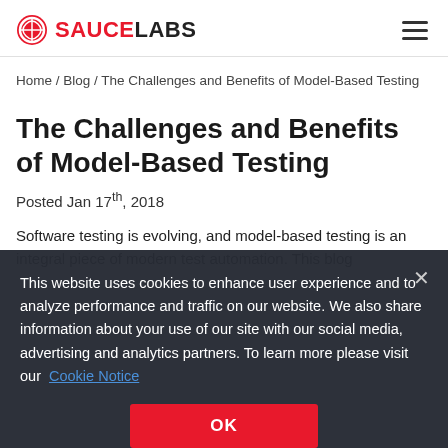SAUCE LABS
Home / Blog / The Challenges and Benefits of Model-Based Testing
The Challenges and Benefits of Model-Based Testing
Posted Jan 17th, 2018
Software testing is evolving, and model-based testing is an integral piece of modern test automation. This blog
This website uses cookies to enhance user experience and to analyze performance and traffic on our website. We also share information about your use of our site with our social media, advertising and analytics partners. To learn more please visit our Cookie Notice